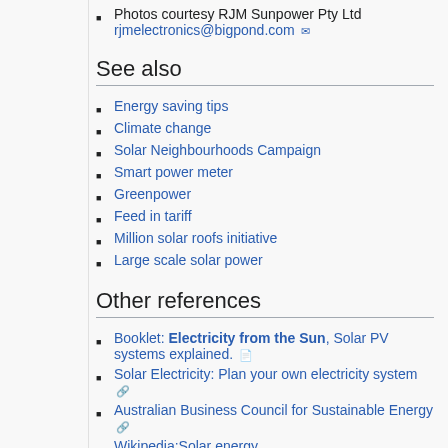Photos courtesy RJM Sunpower Pty Ltd rjmelectronics@bigpond.com [email icon]
See also
Energy saving tips
Climate change
Solar Neighbourhoods Campaign
Smart power meter
Greenpower
Feed in tariff
Million solar roofs initiative
Large scale solar power
Other references
Booklet: Electricity from the Sun, Solar PV systems explained. [doc icon]
Solar Electricity: Plan your own electricity system [external link icon]
Australian Business Council for Sustainable Energy [external link icon]
Wikipedia:Solar energy
Online calculators to help scale a solar PV